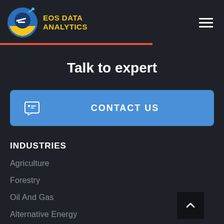EOS DATA ANALYTICS
Talk to expert
CONTACT US
INDUSTRIES
Agriculture
Forestry
Oil And Gas
Alternative Energy